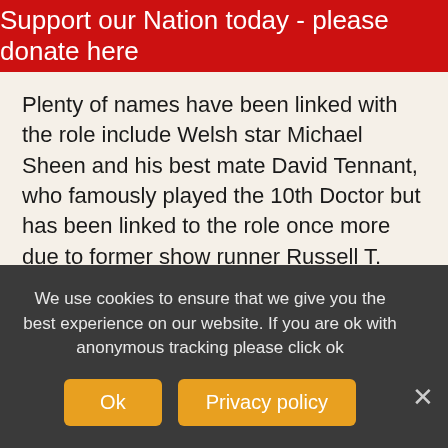Support our Nation today - please donate here
Plenty of names have been linked with the role include Welsh star Michael Sheen and his best mate David Tennant, who famously played the 10th Doctor but has been linked to the role once more due to former show runner Russell T. Davies returning to spearhead the 60th anniversary season, which will begin filming at Wolf Studios Wales in 2023. Tennant played the Doctor when Davies wrote the series.
Ironically, Hugh Grant actually did play Doctor Who
We use cookies to ensure that we give you the best experience on our website. If you are ok with anonymous tracking please click ok
Ok
Privacy policy